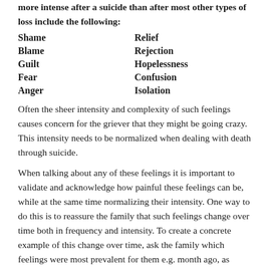more intense after a suicide than after most other types of loss include the following:
Shame    Relief
Blame    Rejection
Guilt    Hopelessness
Fear    Confusion
Anger    Isolation
Often the sheer intensity and complexity of such feelings causes concern for the griever that they might be going crazy. This intensity needs to be normalized when dealing with death through suicide.
When talking about any of these feelings it is important to validate and acknowledge how painful these feelings can be, while at the same time normalizing their intensity. One way to do this is to reassure the family that such feelings change over time both in frequency and intensity. To create a concrete example of this change over time, ask the family which feelings were most prevalent for them e.g. month ago, as